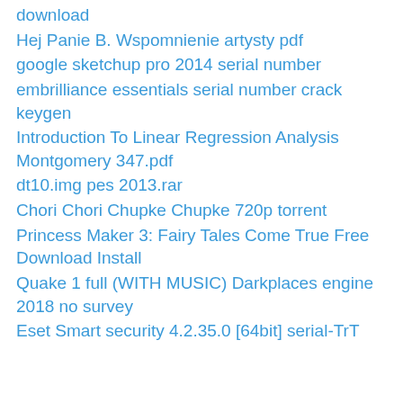download
Hej Panie B. Wspomnienie artysty pdf
google sketchup pro 2014 serial number
embrilliance essentials serial number crack keygen
Introduction To Linear Regression Analysis Montgomery 347.pdf
dt10.img pes 2013.rar
Chori Chori Chupke Chupke 720p torrent
Princess Maker 3: Fairy Tales Come True Free Download Install
Quake 1 full (WITH MUSIC) Darkplaces engine 2018 no survey
Eset Smart security 4.2.35.0 [64bit] serial-TrT